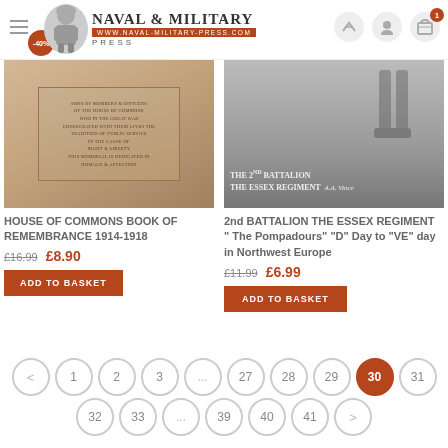Naval & Military Press — www.naval-military-press.com
[Figure (photo): House of Commons memorial stone base with inscription]
HOUSE OF COMMONS BOOK OF REMEMBRANCE 1914-1918
£16.99  £8.90
ADD TO BASKET
[Figure (photo): Soldier's boots and legs in WWI muddy landscape with text: THE 2ND BATTALION THE ESSEX REGIMENT A.A. Vince]
2nd BATTALION THE ESSEX REGIMENT " The Pompadours" "D" Day to "VE" day in Northwest Europe
£11.99  £6.99
ADD TO BASKET
< 1 2 3 ... 27 28 29 30 31
32 33 ... 39 40 41 >